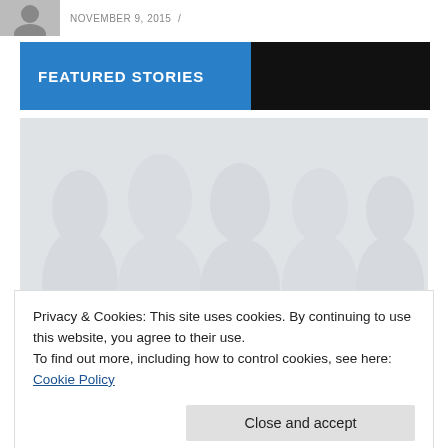NOVEMBER 9, 2015 /
FEATURED STORIES
[Figure (photo): Large faded background image of a crowd or group of people, very low opacity]
Privacy & Cookies: This site uses cookies. By continuing to use this website, you agree to their use.
To find out more, including how to control cookies, see here: Cookie Policy
Close and accept
with China makes